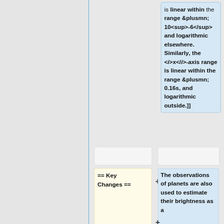is linear within the range ±10⁻⁶ and logarithmic elsewhere. Similarly, the x-axis range is linear within the range ± 0.16s, and logarithmic outside.]]
== Key Changes ==
The observations of planets are also used to estimate their brightness as a